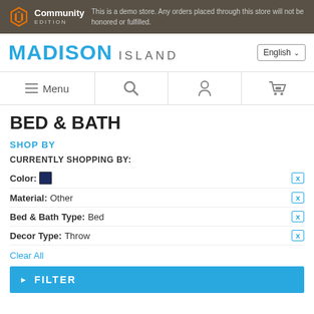Community Edition — This is a demo store. Any orders placed through this store will not be honored or fulfilled.
MADISON ISLAND
[Figure (screenshot): Navigation bar with Menu, search, user, and cart icons]
BED & BATH
SHOP BY
CURRENTLY SHOPPING BY:
Color: [dark blue swatch] X
Material: Other X
Bed & Bath Type: Bed X
Decor Type: Throw X
Clear All
FILTER